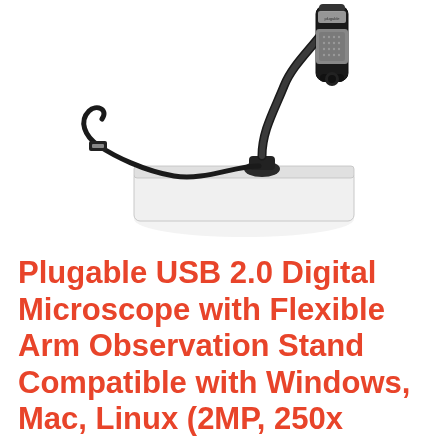[Figure (photo): A USB digital microscope with a flexible gooseneck arm mounted on a white flat observation stand/platform. The microscope head is cylindrical with a gray textured grip section and a lens at the bottom. A black USB cable coils from the base. The background is white.]
Plugable USB 2.0 Digital Microscope with Flexible Arm Observation Stand Compatible with Windows, Mac, Linux (2MP, 250x